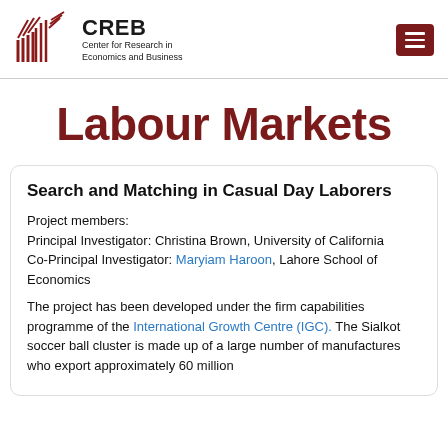CREB — Center for Research in Economics and Business
Labour Markets
Search and Matching in Casual Day Laborers
Project members:
Principal Investigator: Christina Brown, University of California
Co-Principal Investigator: Maryiam Haroon, Lahore School of Economics
The project has been developed under the firm capabilities programme of the International Growth Centre (IGC). The Sialkot soccer ball cluster is made up of a large number of manufactures who export approximately 60 million